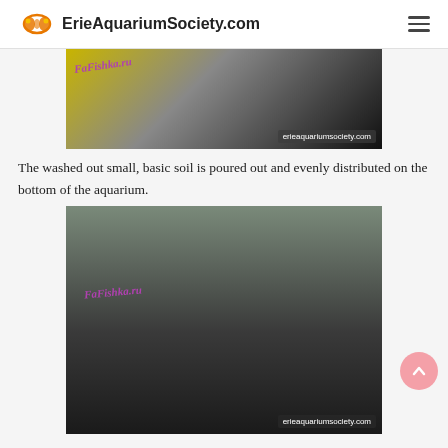ErieAquariumSociety.com
[Figure (photo): Photo of soil/substrate being poured with FaFishka.ru watermark and erieaquariumsociety.com watermark]
The washed out small, basic soil is poured out and evenly distributed on the bottom of the aquarium.
[Figure (photo): Close-up photo of dark aquarium substrate/soil with FaFishka.ru watermark and erieaquariumsociety.com watermark]
Now you need to think again about the plants. In addition to minerals, they need vitamins and